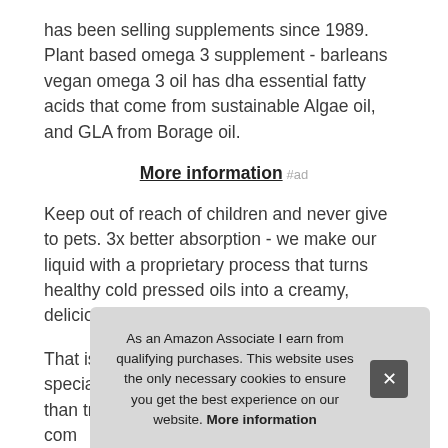has been selling supplements since 1989. Plant based omega 3 supplement - barleans vegan omega 3 oil has dha essential fatty acids that come from sustainable Algae oil, and GLA from Borage oil.
More information #ad
Keep out of reach of children and never give to pets. 3x better absorption - we make our liquid with a proprietary process that turns healthy cold pressed oils into a creamy, delicious treat.
That is highly absorbable. Refrigerate. Our special emulsified formula is absorbed better than traditional oils or softgels. Our unic[...] com[...] and[...] vege[...] from[...]
As an Amazon Associate I earn from qualifying purchases. This website uses the only necessary cookies to ensure you get the best experience on our website. More information